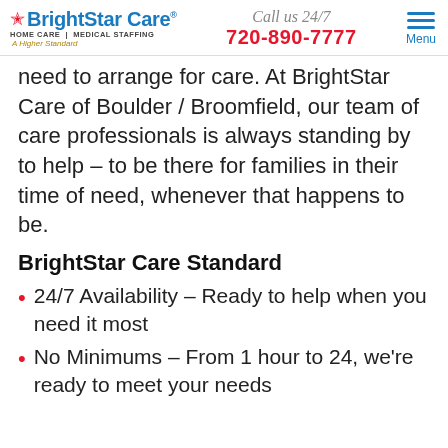BrightStar Care | HOME CARE | MEDICAL STAFFING | A Higher Standard | Call us 24/7 | 720-890-7777 | Menu
need to arrange for care. At BrightStar Care of Boulder / Broomfield, our team of care professionals is always standing by to help – to be there for families in their time of need, whenever that happens to be.
BrightStar Care Standard
24/7 Availability – Ready to help when you need it most
No Minimums – From 1 hour to 24, we're ready to meet your needs